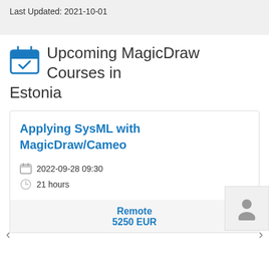Last Updated: 2021-10-01
Upcoming MagicDraw Courses in Estonia
Applying SysML with MagicDraw/Cameo
2022-09-28 09:30
21 hours
Remote
5250 EUR